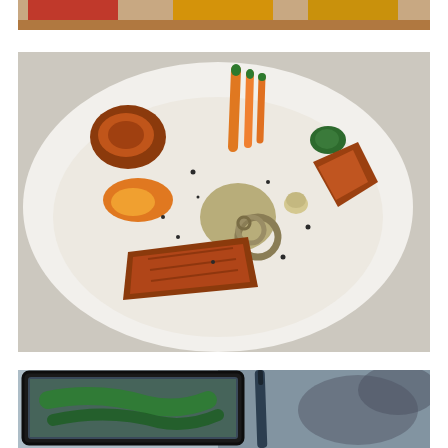[Figure (photo): Top portion of a photo showing glasses of drinks - red, amber/beer, and golden colored beverages on a table surface]
[Figure (photo): A gourmet restaurant dish on a white plate featuring various components: bacon-wrapped item, orange/yellow sauce, roasted baby carrots, green herb puree, an artichoke heart rolled into a spiral, crispy bacon pieces, and more, all arranged in a cream/white sauce with black specks]
[Figure (photo): Close-up photo of a tablet device with a stylus/pen, showing a green cover or cloth item, with blurred background]